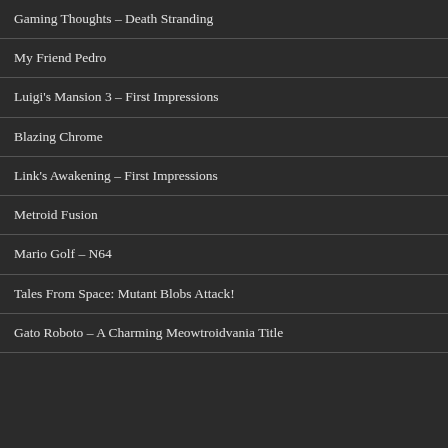Gaming Thoughts – Death Stranding
My Friend Pedro
Luigi's Mansion 3 – First Impressions
Blazing Chrome
Link's Awakening – First Impressions
Metroid Fusion
Mario Golf – N64
Tales From Space: Mutant Blobs Attack!
Gato Roboto – A Charming Meowtroidvania Title